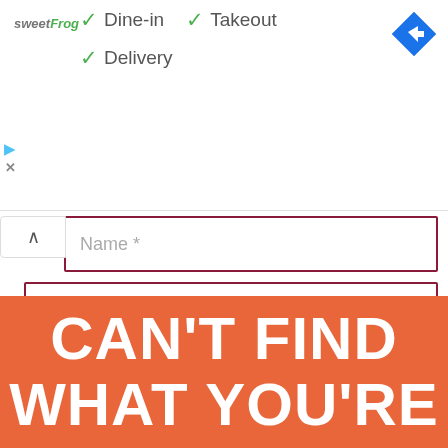[Figure (logo): sweetFrog logo in gray and green italic text]
✓ Dine-in  ✓ Takeout
✓ Delivery
[Figure (illustration): Blue diamond-shaped Google Maps navigation icon with white arrow]
Name *
Email *
POST COMMENT
CAN'T FIND WHAT YOU'RE